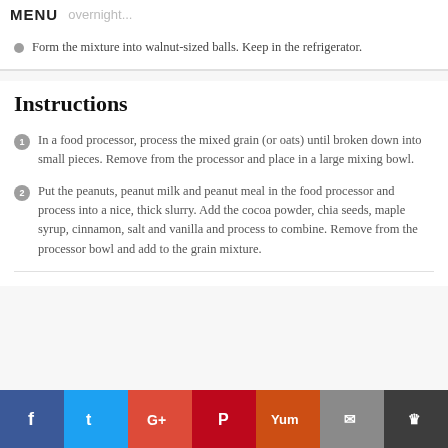MENU
Form the mixture into walnut-sized balls. Keep in the refrigerator.
Instructions
In a food processor, process the mixed grain (or oats) until broken down into small pieces. Remove from the processor and place in a large mixing bowl.
Put the peanuts, peanut milk and peanut meal in the food processor and process into a nice, thick slurry. Add the cocoa powder, chia seeds, maple syrup, cinnamon, salt and vanilla and process to combine. Remove from the processor bowl and add to the grain mixture.
f  t  G+  P  Yum  mail  crown